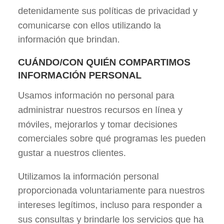detenidamente sus políticas de privacidad y comunicarse con ellos utilizando la información que brindan.
CUÁNDO/CON QUIÉN COMPARTIMOS INFORMACIÓN PERSONAL
Usamos información no personal para administrar nuestros recursos en línea y móviles, mejorarlos y tomar decisiones comerciales sobre qué programas les pueden gustar a nuestros clientes.
Utilizamos la información personal proporcionada voluntariamente para nuestros intereses legítimos, incluso para responder a sus consultas y brindarle los servicios que ha solicitado, entre otros usos, como se describe más adelante. No vendemos ni alquilamos su información personal a terceros proveedores